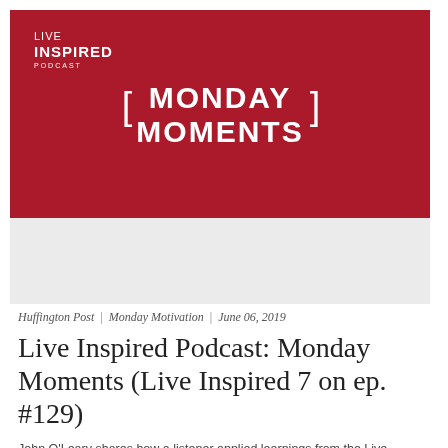[Figure (logo): Monday Moments banner with dark red background, bracket-framed 'MONDAY MOMENTS' title text, and 'LIVE INSPIRED PODCAST' branding in lower left]
[Figure (photo): Light gray rectangular placeholder area below the banner]
Huffington Post | Monday Motivation | June 06, 2019
Live Inspired Podcast: Monday Moments (Live Inspired 7 on ep. #129)
John O'Leary shares how a listener applied learnings from the Live Inspired Podcast to his own life. Every Monday moving...
Read →